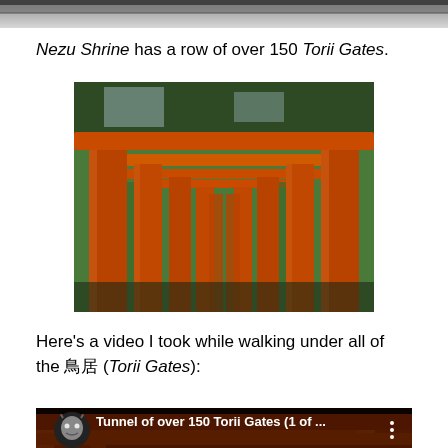[Figure (photo): Top partial photo of a shrine or outdoor scene, cropped at top of page]
Nezu Shrine has a row of over 150 Torii Gates.
[Figure (photo): Photo of orange/red Torii Gates viewed from below at an angle, showing multiple gates receding into the background with greenery visible]
Here's a video I took while walking under all of the 鳥居 (Torii Gates):
[Figure (screenshot): YouTube video embed thumbnail showing a tunnel of over 150 orange Torii Gates, with YouTube play button overlay and title 'Tunnel of over 150 Torii Gates (1 of ...']